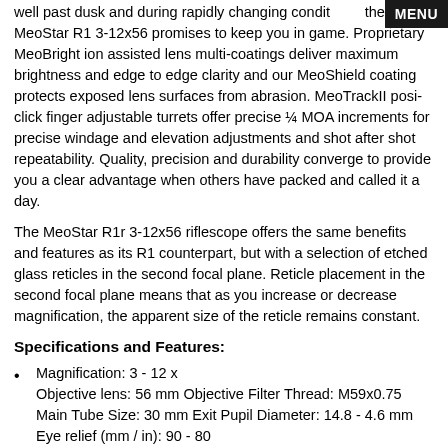well past dusk and during rapidly changing conditions, the MeoStar R1 3-12x56 promises to keep you in the game. Proprietary MeoBright ion assisted lens multi-coatings deliver maximum brightness and edge to edge clarity and our MeoShield coating protects exposed lens surfaces from abrasion. MeoTrackII posi-click finger adjustable turrets offer precise ¼ MOA increments for precise windage and elevation adjustments and shot after shot repeatability. Quality, precision and durability converge to provide you a clear advantage when others have packed and called it a day.
The MeoStar R1r 3-12x56 riflescope offers the same benefits and features as its R1 counterpart, but with a selection of etched glass reticles in the second focal plane. Reticle placement in the second focal plane means that as you increase or decrease magnification, the apparent size of the reticle remains constant.
Specifications and Features:
Magnification: 3 - 12 x
Objective lens: 56 mm Objective Filter Thread: M59x0.75 Main Tube Size: 30 mm Exit Pupil Diameter: 14.8 - 4.6 mm Eye relief (mm / in): 90 - 80